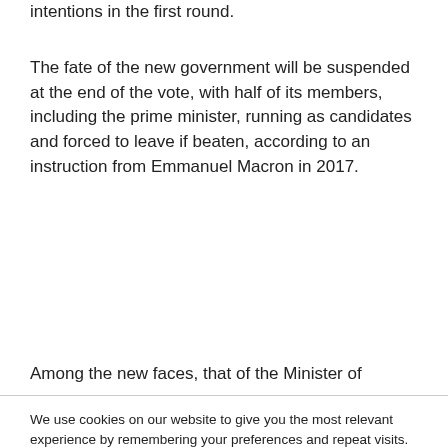intentions in the first round.
The fate of the new government will be suspended at the end of the vote, with half of its members, including the prime minister, running as candidates and forced to leave if beaten, according to an instruction from Emmanuel Macron in 2017.
Among the new faces, that of the Minister of
We use cookies on our website to give you the most relevant experience by remembering your preferences and repeat visits. By clicking “Accept All”, you consent to the use of ALL the cookies. However, you may visit "Cookie Settings" to provide a controlled consent.